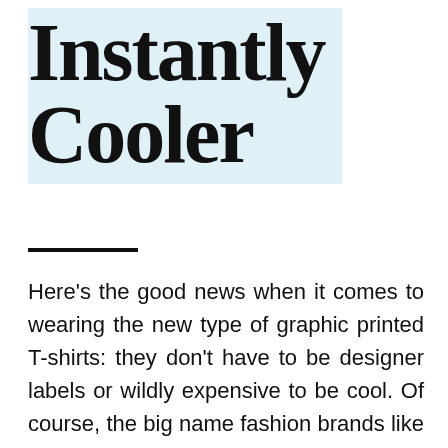Instantly Cooler
Here's the good news when it comes to wearing the new type of graphic printed T-shirts: they don't have to be designer labels or wildly expensive to be cool. Of course, the big name fashion brands like Gucci and Saint Laurent are making some great ones you'll see on celebrities. But you can